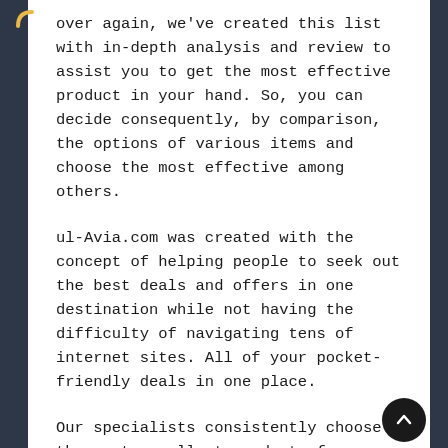over again, we've created this list with in-depth analysis and review to assist you to get the most effective product in your hand. So, you can decide consequently, by comparison, the options of various items and choose the most effective among others.
ul-Avia.com was created with the concept of helping people to seek out the best deals and offers in one destination while not having the difficulty of navigating tens of internet sites. All of your pocket-friendly deals in one place.
Our specialists consistently choose the most excellent products for our shoppers, and they are every time trying to find those products that